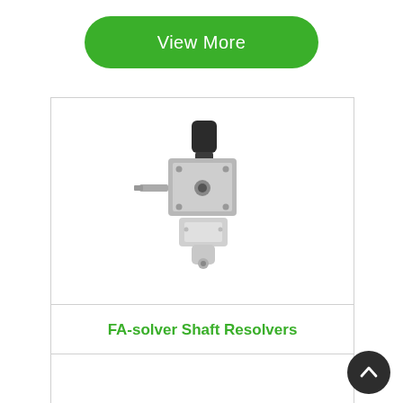[Figure (other): Green rounded rectangle button with white text 'View More']
[Figure (photo): Photo of a FA-solver Shaft Resolver device — a grey metal resolver/encoder with a threaded shaft and connector]
FA-solver Shaft Resolvers